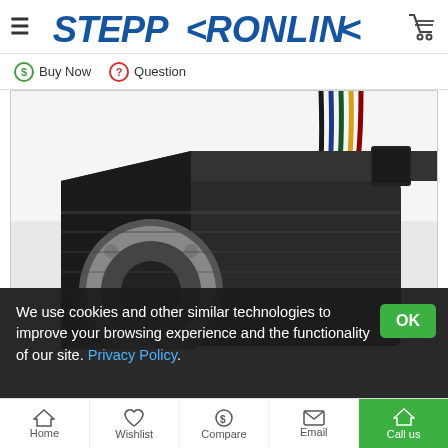STEPPERONLINE
Buy Now   Question
[Figure (photo): Close-up photo of a NEMA stepper motor (black body, silver faceplate) with multicolored wires (red, green, yellow, black, blue) coming out of the top]
We use cookies and other similar technologies to improve your browsing experience and the functionality of our site. Privacy Policy.
Home   Wishlist   Compare   Email   Call us